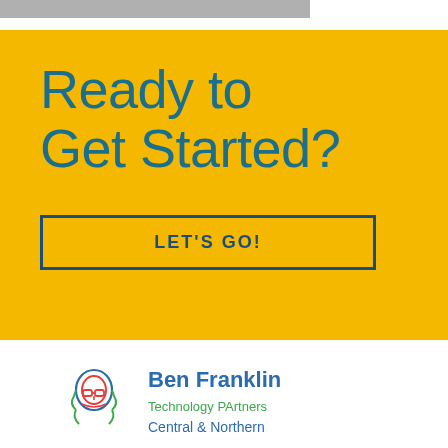[Figure (illustration): Gray horizontal bar at top of page]
Ready to Get Started?
LET'S GO!
[Figure (logo): Ben Franklin Technology Partners logo with illustrated face icon in red, green, and blue outlines, alongside text 'Ben Franklin Technology Partners Central & Northern']